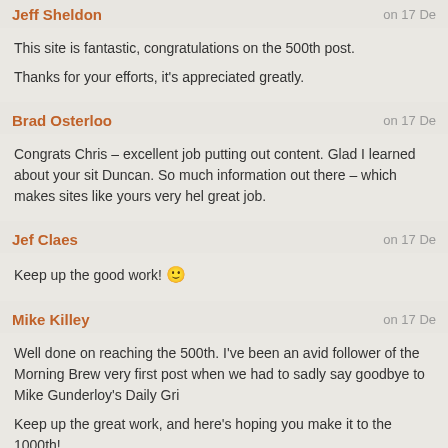Jeff Sheldon
on 17 De
This site is fantastic, congratulations on the 500th post.

Thanks for your efforts, it's appreciated greatly.
Brad Osterloo
on 17 De
Congrats Chris – excellent job putting out content. Glad I learned about your sit Duncan. So much information out there – which makes sites like yours very hel great job.
Jef Claes
on 17 De
Keep up the good work! 🙂
Mike Killey
on 17 De
Well done on reaching the 500th. I've been an avid follower of the Morning Brew very first post when we had to sadly say goodbye to Mike Gunderloy's Daily Gri

Keep up the great work, and here's hoping you make it to the 1000th!